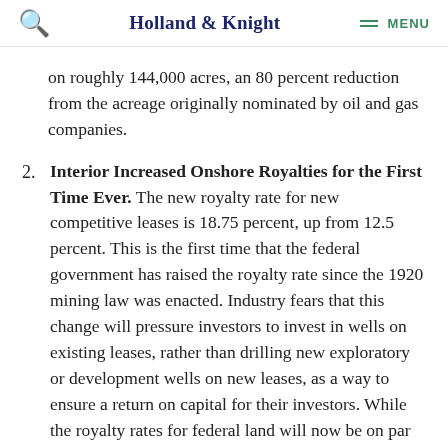Holland & Knight  MENU
on roughly 144,000 acres, an 80 percent reduction from the acreage originally nominated by oil and gas companies.
Interior Increased Onshore Royalties for the First Time Ever. The new royalty rate for new competitive leases is 18.75 percent, up from 12.5 percent. This is the first time that the federal government has raised the royalty rate since the 1920 mining law was enacted. Industry fears that this change will pressure investors to invest in wells on existing leases, rather than drilling new exploratory or development wells on new leases, as a way to ensure a return on capital for their investors. While the royalty rates for federal land will now be on par with many Western states, it remains lower than states such as Texas with a